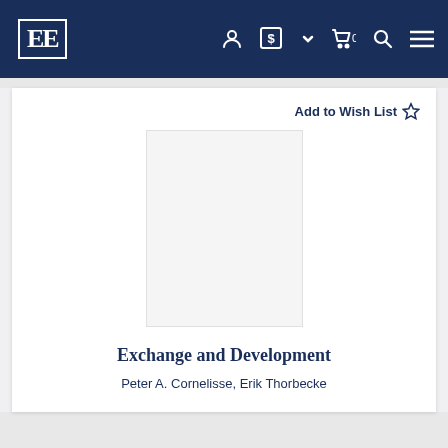EE [logo] navigation bar with user, currency, cart, search, menu icons
Add to Wish List ☆
[Figure (illustration): Book cover placeholder area (empty/white space where book cover image would appear)]
Exchange and Development
Peter A. Cornelisse, Erik Thorbecke